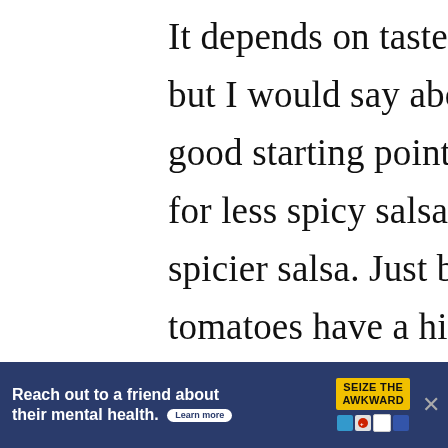It depends on taste, of how spicy you want your salsa, but I would say about 15 cups worth of tomatoes is a good starting point. Then you can add more tomatoes for less spicy salsa, or more onion and peppers for a spicier salsa. Just be careful because many varieties of tomatoes have a higher water
[Figure (other): Heart/like button (teal circle with heart icon) with count 36, and a share button below]
[Figure (other): What's Next panel with thumbnail image and text 'Salsa Recipe for Canning']
[Figure (other): Advertisement banner: 'Reach out to a friend about their mental health. Learn more' with SEIZE THE AWKWARD badge and sponsor logos]